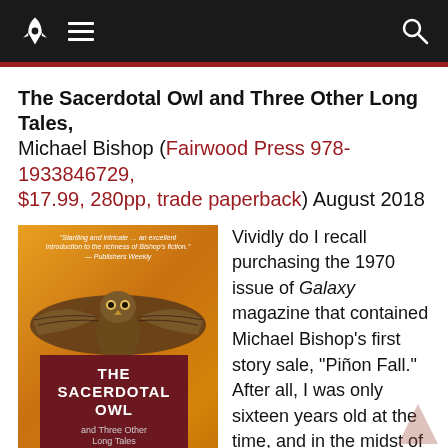Navigation bar with rocket logo, hamburger menu, and search icon
The Sacerdotal Owl and Three Other Long Tales, Michael Bishop (Fairwood Press 978-1933846729, $17.99, 280pp, trade paperback) August 2018
[Figure (photo): Book cover of 'The Sacerdotal Owl and Three Other Long Tales' by Michael Bishop (Fairwood Press). Orange/gold Aztec-themed background with an owl in flight at the top. Dark red title box in center with white text for title and gold text for author name.]
Vividly do I recall purchasing the 1970 issue of Galaxy magazine that contained Michael Bishop's first story sale, "Piñon Fall." After all, I was only sixteen years old at the time, and in the midst of my own personal Golden Age of SF immersion. Liking the serie and